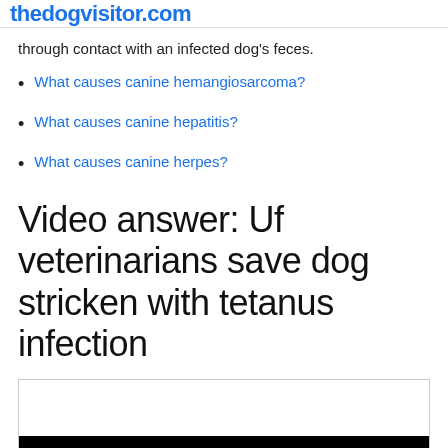thedogvisitor.com
through contact with an infected dog's feces.
What causes canine hemangiosarcoma?
What causes canine hepatitis?
What causes canine herpes?
Video answer: Uf veterinarians save dog stricken with tetanus infection
[Figure (screenshot): Embedded video player with black control bar at bottom]